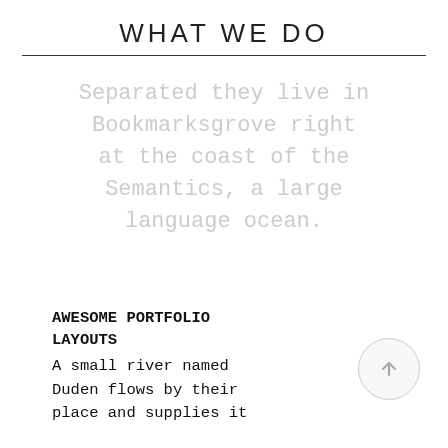WHAT WE DO
Separated they live in Bookmarksgrove right at the coast of the Semantics, a large language ocean.
AWESOME PORTFOLIO LAYOUTS
A small river named Duden flows by their place and supplies it